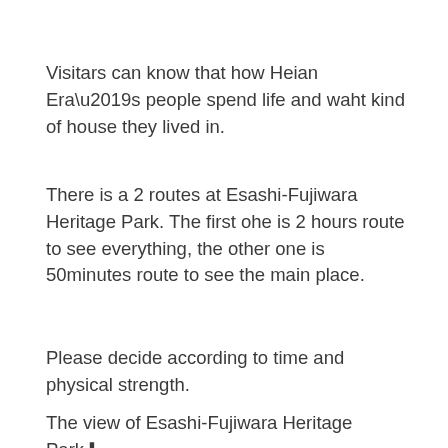Visitars can know that how Heian Era’s people spend life and waht kind of house they lived in.
There is a 2 routes at Esashi-Fujiwara Heritage Park. The first ohe is 2 hours route to see everything, the other one is 50minutes route to see the main place.
Please decide according to time and physical strength.
The view of Esashi-Fujiwara Heritage Park⬇